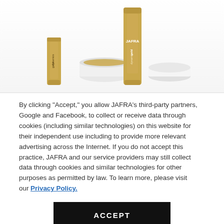[Figure (photo): JAFRA gold dynamics skincare product line including a tall tube, a round jar, a small tube, and a partial white container arranged on a white surface.]
By clicking “Accept,” you allow JAFRA’s third-party partners, Google and Facebook, to collect or receive data through cookies (including similar technologies) on this website for their independent use including to provide more relevant advertising across the Internet. If you do not accept this practice, JAFRA and our service providers may still collect data through cookies and similar technologies for other purposes as permitted by law. To learn more, please visit our Privacy Policy.
ACCEPT